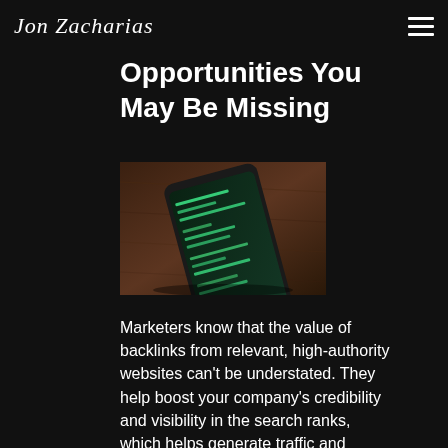Jon Zacharias
Opportunities You May Be Missing
[Figure (photo): A smartphone lying on a wooden surface, screen displaying green-tinted messaging or code-like content, shot from above at an angle in a dark setting.]
Marketers know that the value of backlinks from relevant, high-authority websites can't be understated. They help boost your company's credibility and visibility in the search ranks, which helps generate traffic and ultimately leads to more